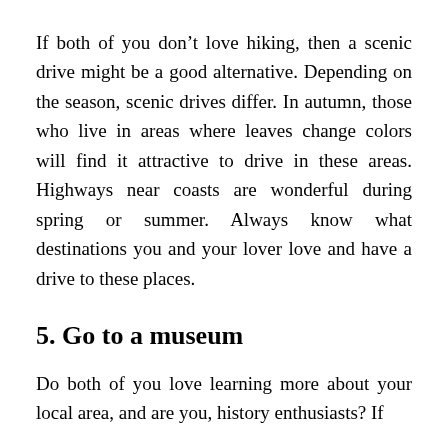If both of you don't love hiking, then a scenic drive might be a good alternative. Depending on the season, scenic drives differ. In autumn, those who live in areas where leaves change colors will find it attractive to drive in these areas. Highways near coasts are wonderful during spring or summer. Always know what destinations you and your lover love and have a drive to these places.
5. Go to a museum
Do both of you love learning more about your local area, and are you, history enthusiasts? If